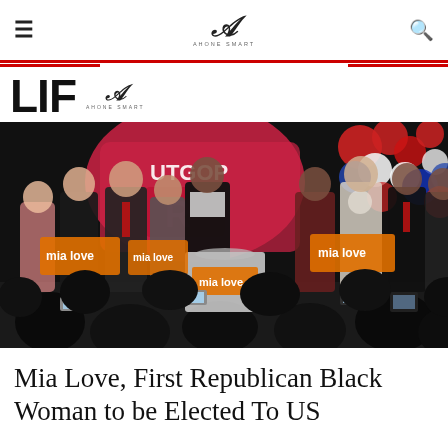≡  𝒜  Q
LIF
[Figure (photo): Mia Love standing at a podium on an election night stage surrounded by supporters, with 'mia love' orange campaign signs visible and red/white/blue balloons in the background at a UTGOP event.]
Mia Love, First Republican Black Woman to be Elected To US